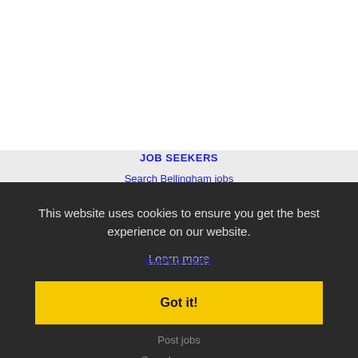JOB SEEKERS
Search Bellingham jobs
Post your resume
Email job alerts
Register / Log in
This website uses cookies to ensure you get the best experience on our website.
Learn more
EMPLOYERS
Got it!
Post jobs
Search resumes
Email resume alerts
Advertise